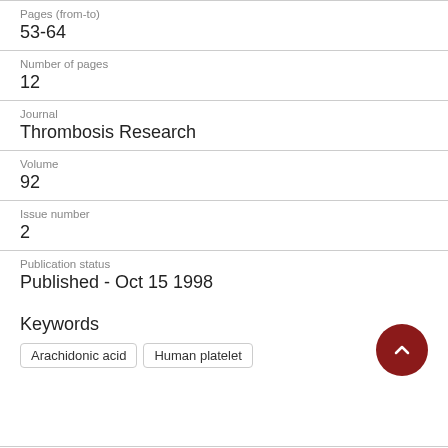Pages (from-to)
53-64
Number of pages
12
Journal
Thrombosis Research
Volume
92
Issue number
2
Publication status
Published - Oct 15 1998
Keywords
Arachidonic acid
Human platelet